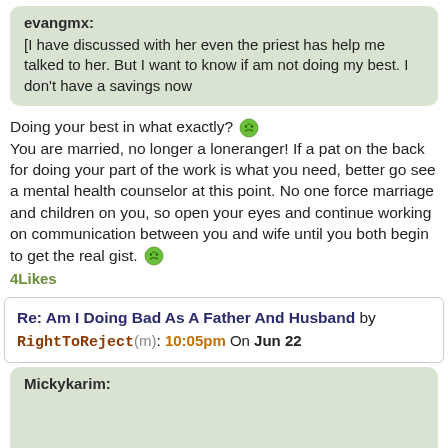evangmx: [I have discussed with her even the priest has help me talked to her. But I want to know if am not doing my best. I don't have a savings now
Doing your best in what exactly? You are married, no longer a loneranger! If a pat on the back for doing your part of the work is what you need, better go see a mental health counselor at this point. No one force marriage and children on you, so open your eyes and continue working on communication between you and wife until you both begin to get the real gist.
4Likes
Re: Am I Doing Bad As A Father And Husband by RightToReject(m): 10:05pm On Jun 22
Mickykarim:
Ordinary quoting someone correctly you can't. Anyway, I